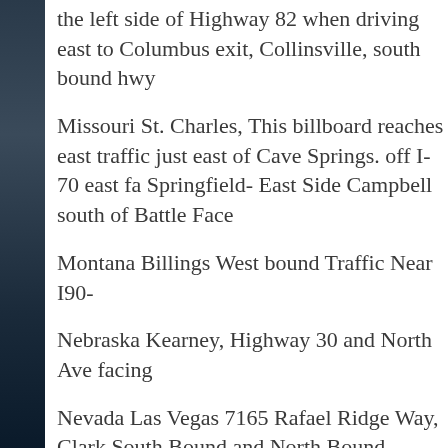the left side of Highway 82 when driving east Columbus exit, Collinsville, south bound hwy
Missouri St. Charles, This billboard reaches east traffic just east of Cave Springs. off I-70 east Springfield- East Side Campbell south of Battle Face
Montana Billings West bound Traffic Near I90-
Nebraska Kearney, Highway 30 and North Ave facing
Nevada Las Vegas 7165 Rafael Ridge Way, Clark South Bound and North Bound
New Hampshire No billboards available at this
New Jersey Pleasantville, This Atlantic City BEA digital billboard is located at the very busy inte